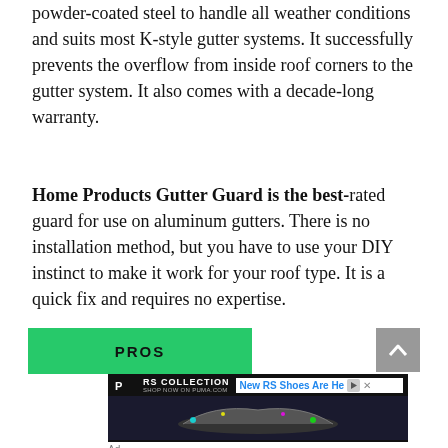powder-coated steel to handle all weather conditions and suits most K-style gutter systems. It successfully prevents the overflow from inside roof corners to the gutter system. It also comes with a decade-long warranty.
Home Products Gutter Guard is the best-rated guard for use on aluminum gutters. There is no installation method, but you have to use your DIY instinct to make it work for your roof type. It is a quick fix and requires no expertise.
[Figure (other): Green PROS button and a Puma RS Collection advertisement banner with shoes image and 'New RS Shoes Are Here' text]